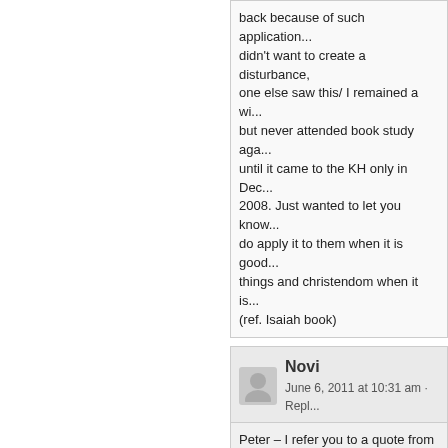back because of such application... didn't want to create a disturbance, one else saw this/ I remained a wi... but never attended book study aga... until it came to the KH only in Dec... 2008. Just wanted to let you know... do apply it to them when it is good... things and christendom when it is... (ref. Isaiah book)
Novi
June 6, 2011 at 10:31 am · Repl...
Peter – I refer you to a quote from Vol 4... 604, 1908 ed. "…the harvest or gatherin... begining October 1874; the organization... Kingdom and the taking of our Lord of h... power as the King in April 1878, and the... trouble or day of wrath which began Oc... 1874 and will end October 1914." In the newer editions the wording was c... to:…the "harvest" or gathering time beg... October 1874; the organization of the K... and the taking by our Lord of his great p... as the King in April 1878, and the time o... trouble or "day of wrath" which began O... 1874, and will cease about 1915; and th... sprouting of the fig tree. Those who cho... might without inconsistency say that th...